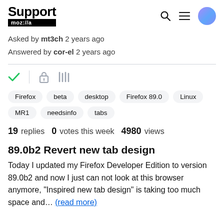Support moz://a
Asked by mt3ch 2 years ago
Answered by cor-el 2 years ago
[Figure (infographic): Browser UI icons: green checkmark, vertical separator, lock icon, library/books icon]
Firefox
beta
desktop
Firefox 89.0
Linux
MR1
needsinfo
tabs
19 replies   0 votes this week   4980 views
89.0b2 Revert new tab design
Today I updated my Firefox Developer Edition to version 89.0b2 and now I just can not look at this browser anymore, "Inspired new tab design" is taking too much space and... (read more)